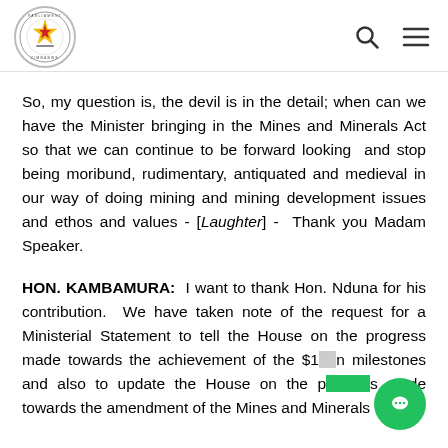Parliament of Zimbabwe logo with search and menu icons
So, my question is, the devil is in the detail; when can we have the Minister bringing in the Mines and Minerals Act so that we can continue to be forward looking and stop being moribund, rudimentary, antiquated and medieval in our way of doing mining and mining development issues and ethos and values - [Laughter] - Thank you Madam Speaker.
HON. KAMBAMURA: I want to thank Hon. Nduna for his contribution. We have taken note of the request for a Ministerial Statement to tell the House on the progress made towards the achievement of the $12bn milestones and also to update the House on the progress made towards the amendment of the Mines and Minerals